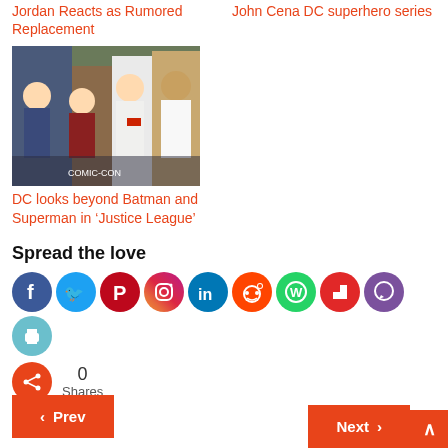Jordan Reacts as Rumored Replacement
John Cena DC superhero series
[Figure (photo): Group photo of DC actors at what appears to be Comic-Con, including several cast members of Justice League]
DC looks beyond Batman and Superman in ‘Justice League’
Spread the love
[Figure (infographic): Social media sharing icons: Facebook, Twitter, Pinterest, Instagram, LinkedIn, Reddit, WhatsApp, Flipboard, Viber, Print, and a share button. Shows 0 Shares.]
0 Shares
Prev
Next